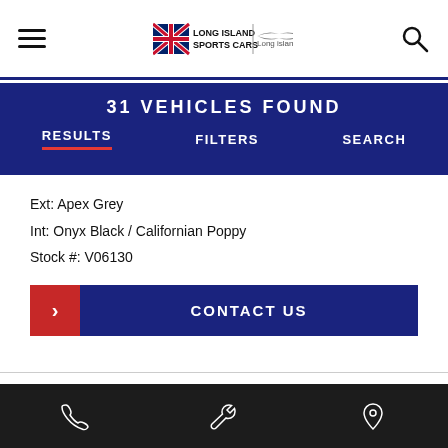Long Island Sports Cars | Aston Martin Long Island
31 VEHICLES FOUND
RESULTS | FILTERS | SEARCH
Ext: Apex Grey
Int: Onyx Black / Californian Poppy
Stock #: V06130
CONTACT US
New 2023 Aston Martin DBX707
Phone | Wrench | Location icons